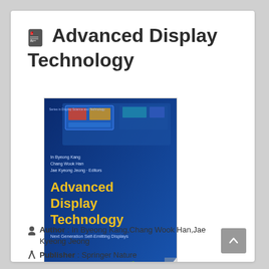Advanced Display Technology
[Figure (photo): Book cover of 'Advanced Display Technology: Next Generation Self-Emitting Displays' published by Springer, with editors In Byeong Kang, Chang Wook Han, Jae Kyeong Jeong. Blue background with yellow title text and display technology imagery.]
Author : In Byeong Kang,Chang Wook Han,Jae Kyeong Jeong
Publisher : Springer Nature